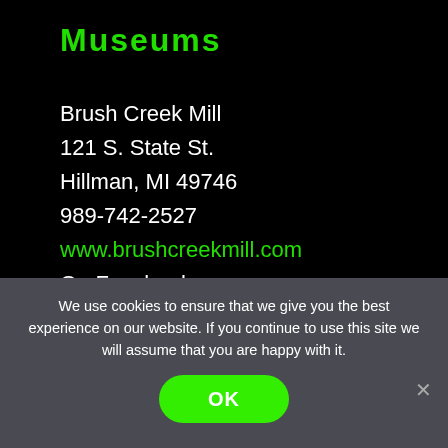Museums
Brush Creek Mill
121 S. State St.
Hillman, MI 49746
989-742-2527
www.brushcreekmill.com
On Facebook:
www.facebook.com/brushcreekmill/
brushcreekmill@gmail.com
We use cookies to ensure that we give you the best experience on our website. If you continue to use this site we will assume that you are happy with it.